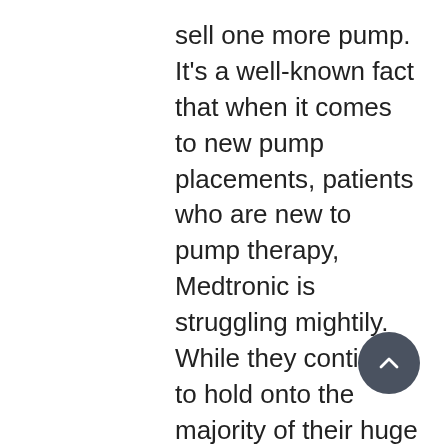sell one more pump. It's a well-known fact that when it comes to new pump placements, patients who are new to pump therapy, Medtronic is struggling mightily. While they continue to hold onto the majority of their huge installed user base, Animas and Insulet (NASDAQ:PODD) are winning the battle for new patients.
Diabetic Investor has said consistently that nothing much will change in the insulin pump market until someone, anyone figures out a way to convert existing Medtronic